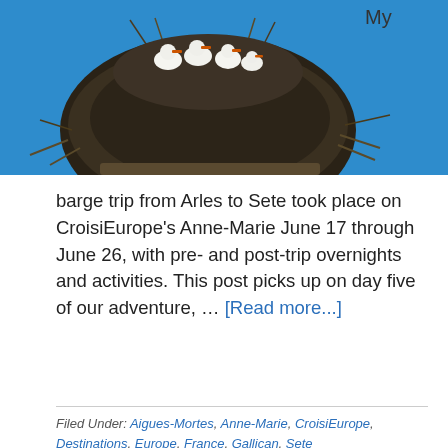[Figure (photo): Birds (storks) in a large nest made of twigs against a bright blue sky background]
My
barge trip from Arles to Sete took place on CroisiEurope's Anne-Marie June 17 through June 26, with pre- and post-trip overnights and activities. This post picks up on day five of our adventure, … [Read more...]
Filed Under: Aigues-Mortes, Anne-Marie, CroisiEurope, Destinations, Europe, France, Gallican, Sete
Discovering The South...